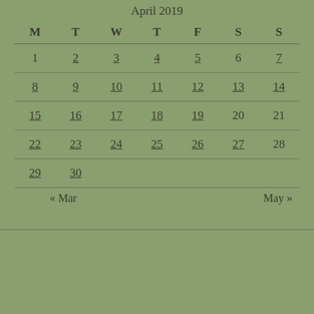April 2019
| M | T | W | T | F | S | S |
| --- | --- | --- | --- | --- | --- | --- |
| 1 | 2 | 3 | 4 | 5 | 6 | 7 |
| 8 | 9 | 10 | 11 | 12 | 13 | 14 |
| 15 | 16 | 17 | 18 | 19 | 20 | 21 |
| 22 | 23 | 24 | 25 | 26 | 27 | 28 |
| 29 | 30 |  |  |  |  |  |
« Mar    May »